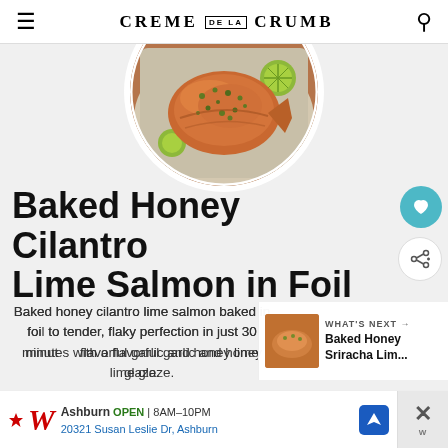CREME DE LA CRUMB
[Figure (photo): Circular photo of baked honey cilantro lime salmon in foil on a baking tray with lime slices]
Baked Honey Cilantro Lime Salmon in Foil
Baked honey cilantro lime salmon baked in foil to tender, flaky perfection in just 30 minutes with a flavorful garlic and honey lime glaze.
[Figure (photo): Small thumbnail of Baked Honey Sriracha Lime recipe in What's Next overlay]
WHAT'S NEXT → Baked Honey Sriracha Lim...
[Figure (screenshot): Walgreens advertisement: Ashburn OPEN 8AM-10PM, 20321 Susan Leslie Dr, Ashburn]